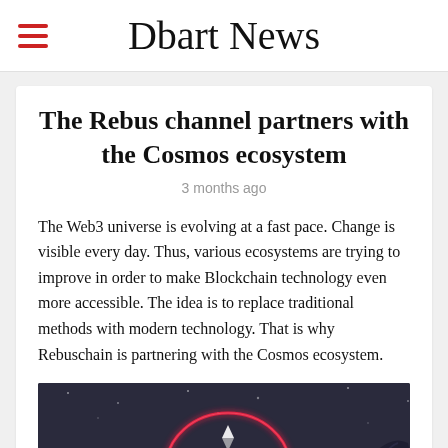Dbart News
The Rebus channel partners with the Cosmos ecosystem
3 months ago
The Web3 universe is evolving at a fast pace. Change is visible every day. Thus, various ecosystems are trying to improve in order to make Blockchain technology even more accessible. The idea is to replace traditional methods with modern technology. That is why Rebuschain is partnering with the Cosmos ecosystem.
[Figure (photo): Dark background image with glowing red neon ring circle and a hand, related to blockchain/crypto theme]